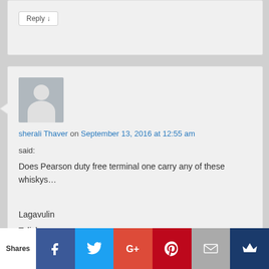Reply ↓
sherali Thaver on September 13, 2016 at 12:55 am said:
Does Pearson duty free terminal one carry any of these whiskys…
Lagavulin
Taliskar
Coal ila.
Please let me know.
Shares